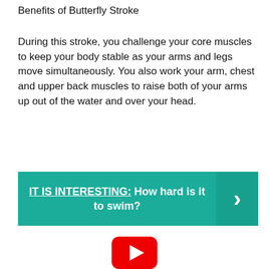Benefits of Butterfly Stroke
During this stroke, you challenge your core muscles to keep your body stable as your arms and legs move simultaneously. You also work your arm, chest and upper back muscles to raise both of your arms up out of the water and over your head.
[Figure (infographic): Teal banner with text 'IT IS INTERESTING: How hard is it to swim?' and a right-pointing chevron arrow on the right side]
[Figure (logo): YouTube play button icon in red at bottom center of page]